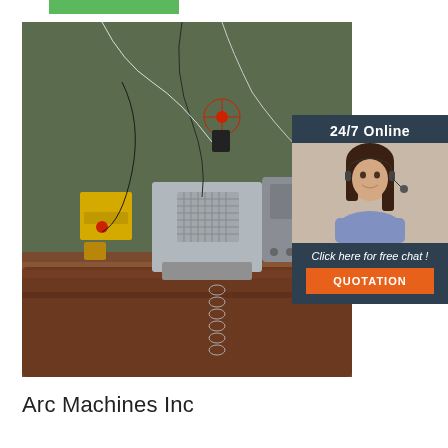[Figure (photo): Green horizontal bar at top of page, partial navigation or header element]
[Figure (photo): Industrial welding machine or orbital welding head clamped onto a large pipe, with hoses, cables, yellow and silver metal components, a red valve, and a chain hanging below. Background shows a workshop or industrial setting.]
[Figure (photo): Sidebar overlay on the main image showing a customer service representative (woman with headset) with text '24/7 Online', 'Click here for free chat !', and an orange 'QUOTATION' button on a dark blue-gray background.]
Arc Machines Inc